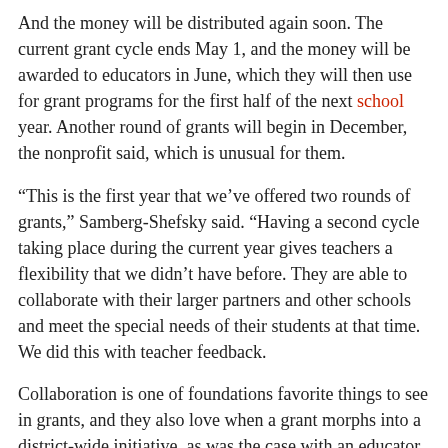And the money will be distributed again soon. The current grant cycle ends May 1, and the money will be awarded to educators in June, which they will then use for grant programs for the first half of the next school year. Another round of grants will begin in December, the nonprofit said, which is unusual for them.
“This is the first year that we’ve offered two rounds of grants,” Samberg-Shefsky said. “Having a second cycle taking place during the current year gives teachers a flexibility that we didn’t have before. They are able to collaborate with their larger partners and other schools and meet the special needs of their students at that time. We did this with teacher feedback.
Collaboration is one of foundations favorite things to see in grants, and they also love when a grant morphs into a district-wide initiative, as was the case with an educator music grant. from King Philip Middle School.
“It changed their music program by enhancing what they had in digital opportunities,” Samberg-Shefsky said. “As a result of this, the district funded a similar program at Bristow Middle School and Sedgwick Middle School. This single grant had an impact on